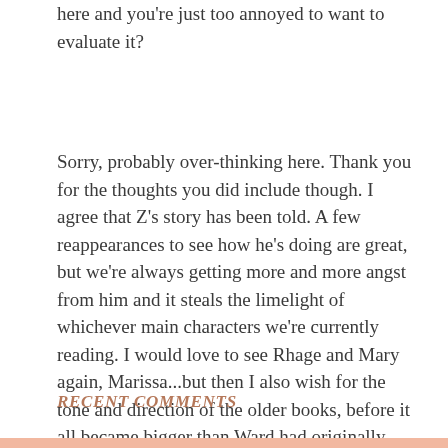here and you're just too annoyed to want to evaluate it?
Sorry, probably over-thinking here. Thank you for the thoughts you did include though. I agree that Z's story has been told. A few reappearances to see how he's doing are great, but we're always getting more and more angst from him and it steals the limelight of whichever main characters we're currently reading. I would love to see Rhage and Mary again, Marissa...but then I also wish for the tone and direction of the older books, before it all became bigger than Ward had originally planned for. Oh well.
RECENT COMMENTS